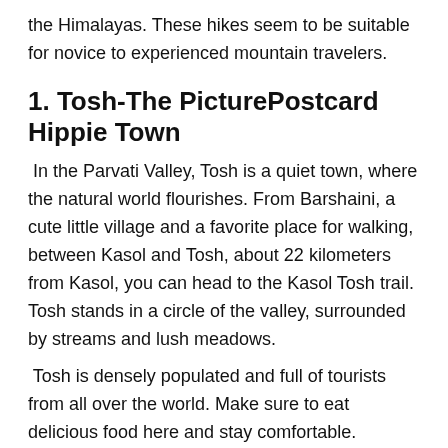the Himalayas. These hikes seem to be suitable for novice to experienced mountain travelers.
1. Tosh-The PicturePostcard Hippie Town
In the Parvati Valley, Tosh is a quiet town, where the natural world flourishes. From Barshaini, a cute little village and a favorite place for walking, between Kasol and Tosh, about 22 kilometers from Kasol, you can head to the Kasol Tosh trail. Tosh stands in a circle of the valley, surrounded by streams and lush meadows.
Tosh is densely populated and full of tourists from all over the world. Make sure to eat delicious food here and stay comfortable.
2. Chalal